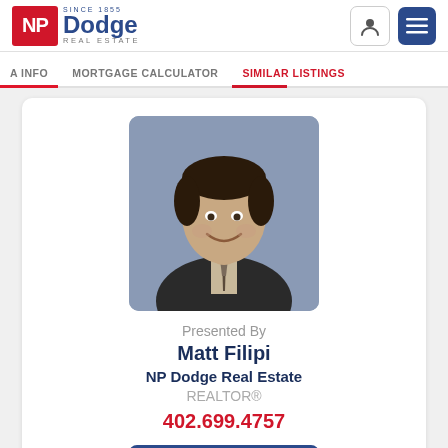[Figure (logo): NP Dodge Real Estate logo with red square containing 'NP' and blue 'Dodge' text, with 'SINCE 1855' and 'REAL ESTATE' text]
A INFO   MORTGAGE CALCULATOR   SIMILAR LISTINGS
[Figure (photo): Professional headshot of Matt Filipi in a suit and tie, smiling, against a grey background]
Presented By
Matt Filipi
NP Dodge Real Estate
REALTOR®
402.699.4757
Contact Me
LIVE CHAT...